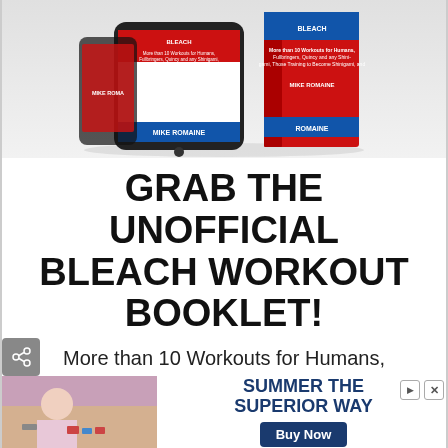[Figure (photo): Book and device mockup showing 'The Unofficial Bleach Workout' booklet by Mike Romaine on a phone and as a physical book with red cover]
GRAB THE UNOFFICIAL BLEACH WORKOUT BOOKLET!
More than 10 Workouts for Humans, Fullbringers, Quincy and any Shinigami, Those Training to Become Shinigami, and Members of ANY Division!
(Unofficial Workouts Inspired by Characters)
[Figure (photo): Advertisement banner: Summer The Superior Way - Buy Now button, with photo of people at a table with drinks]